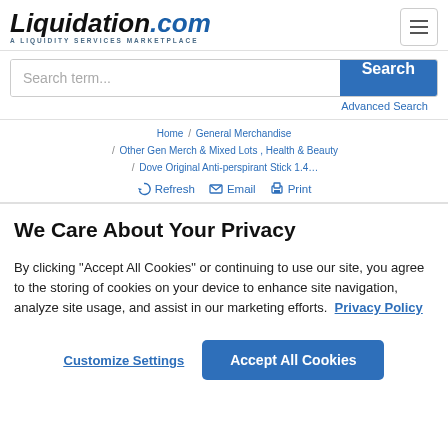[Figure (logo): Liquidation.com logo with tagline 'A LIQUIDITY SERVICES MARKETPLACE']
[Figure (screenshot): Hamburger menu button (three horizontal lines) in top right]
Search term...
Search
Advanced Search
Home / General Merchandise / Other Gen Merch & Mixed Lots , Health & Beauty / Dove Original Anti-perspirant Stick 1.4…
Refresh Email Print
We Care About Your Privacy
By clicking “Accept All Cookies” or continuing to use our site, you agree to the storing of cookies on your device to enhance site navigation, analyze site usage, and assist in our marketing efforts. Privacy Policy
Customize Settings
Accept All Cookies